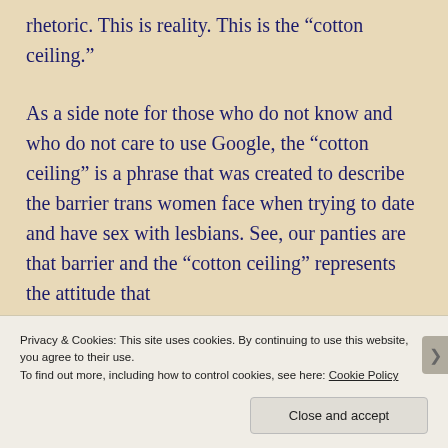rhetoric. This is reality. This is the “cotton ceiling.”
As a side note for those who do not know and who do not care to use Google, the “cotton ceiling” is a phrase that was created to describe the barrier trans women face when trying to date and have sex with lesbians. See, our panties are that barrier and the “cotton ceiling” represents the attitude that
Privacy & Cookies: This site uses cookies. By continuing to use this website, you agree to their use.
To find out more, including how to control cookies, see here: Cookie Policy
Close and accept